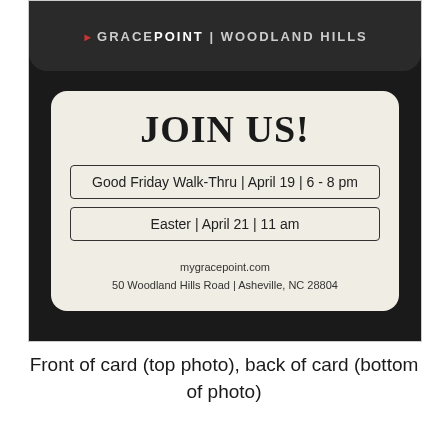[Figure (photo): Photograph showing two sides of a church invitation card. Top portion shows the front of the card (GracePoint | Woodland Hills dark card). Bottom portion (back of card) is a cream/beige card with 'JOIN US!' heading and event details: Good Friday Walk-Thru April 19 6-8pm, Easter April 21 11am, mygracepoint.com, 50 Woodland Hills Road Asheville NC 28804.]
Front of card (top photo), back of card (bottom of photo)